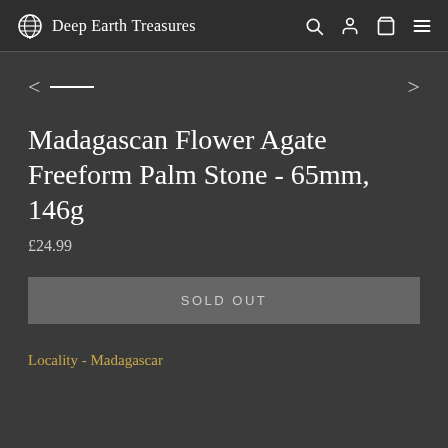Deep Earth Treasures
Madagascan Flower Agate Freeform Palm Stone - 65mm, 146g
£24.99
SOLD OUT
Locality - Madagascar